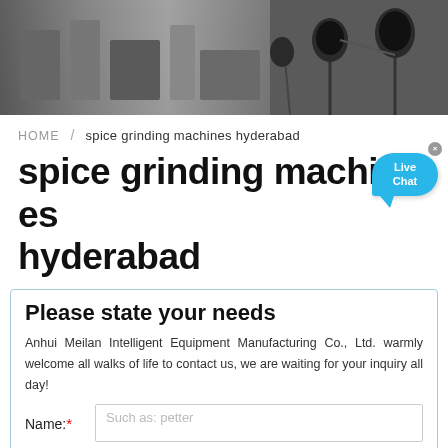[Figure (photo): Header banner showing a factory/industrial setting on the left and microphones/recording equipment on the right, dark toned.]
HOME / spice grinding machines hyderabad
spice grinding machines hyderabad
Please state your needs
Anhui Meilan Intelligent Equipment Manufacturing Co., Ltd. warmly welcome all walks of life to contact us, we are waiting for your inquiry all day!
Name:* Such as: petter